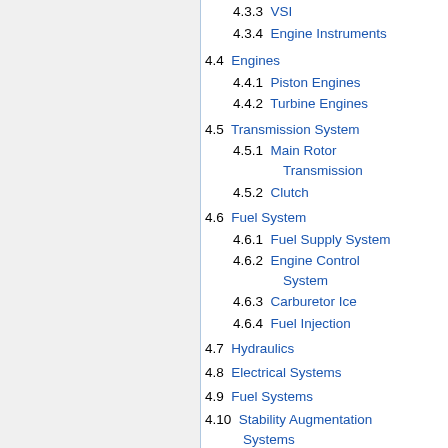4.3.3 VSI
4.3.4 Engine Instruments
4.4 Engines
4.4.1 Piston Engines
4.4.2 Turbine Engines
4.5 Transmission System
4.5.1 Main Rotor Transmission
4.5.2 Clutch
4.6 Fuel System
4.6.1 Fuel Supply System
4.6.2 Engine Control System
4.6.3 Carburetor Ice
4.6.4 Fuel Injection
4.7 Hydraulics
4.8 Electrical Systems
4.9 Fuel Systems
4.10 Stability Augmentation Systems